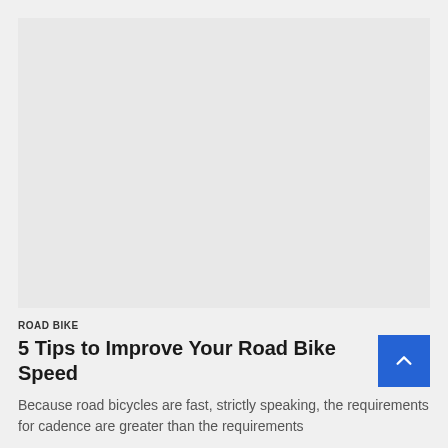[Figure (photo): Large rectangular image area showing a road bike scene, currently appearing as a light gray placeholder]
ROAD BIKE
5 Tips to Improve Your Road Bike Speed
Because road bicycles are fast, strictly speaking, the requirements for cadence are greater than the requirements